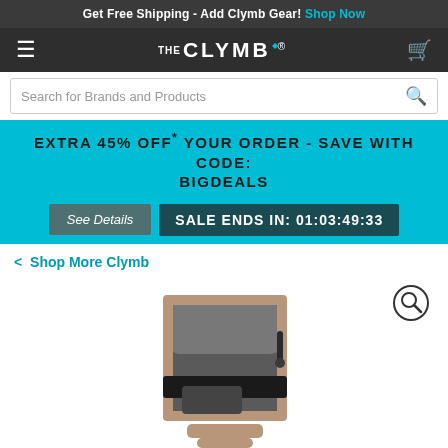Get Free Shipping - Add Clymb Gear! Shop Now
[Figure (logo): The Clymb logo with hamburger menu and cart icon on dark navigation bar]
Search for Brands and Products
EXTRA 45% OFF* YOUR ORDER - SAVE WITH CODE: BIGDEALS
See Details  SALE ENDS IN: 01:03:49:33
< Shop More Clymb
[Figure (photo): Small grey and tan tactical/utility pouch or case with black strap and zipper detail, shown against white background]